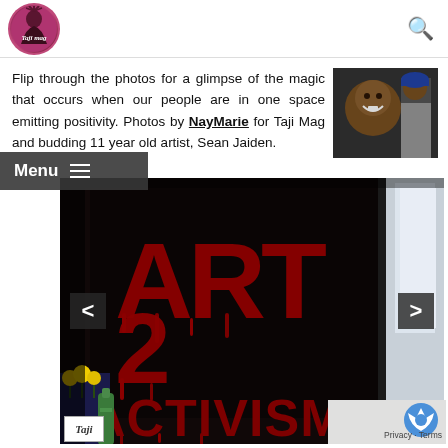[Figure (logo): Taji Mag circular logo with pink/magenta background]
Flip through the photos for a glimpse of the magic that occurs when our people are in one space emitting positivity. Photos by NayMarie for Taji Mag and budding 11 year old artist, Sean Jaiden.
[Figure (photo): Photo of smiling child, Sean Jaiden]
[Figure (photo): Main large photo showing Art 2 Activism sign with red graffiti text on black background, flowers in vase at bottom left]